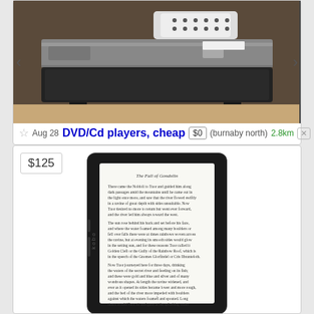[Figure (photo): Photo of a DVD/CD player on a leather surface with a remote control on top, navigation arrows on sides]
Aug 28 DVD/Cd players, cheap $0 (burnaby north) 2.8km
$125
[Figure (photo): Photo of a Kobo e-reader displaying a page of text from 'The Fall of Gondolin']